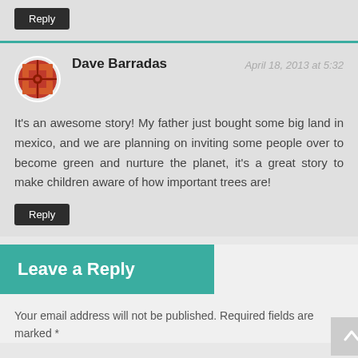Reply
Dave Barradas
April 18, 2013 at 5:32
It's an awesome story! My father just bought some big land in mexico, and we are planning on inviting some people over to become green and nurture the planet, it's a great story to make children aware of how important trees are!
Reply
Leave a Reply
Your email address will not be published. Required fields are marked *